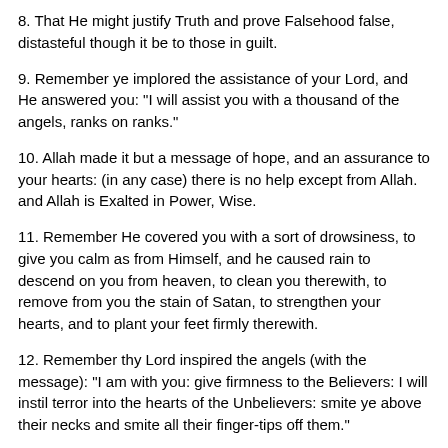8. That He might justify Truth and prove Falsehood false, distasteful though it be to those in guilt.
9. Remember ye implored the assistance of your Lord, and He answered you: "I will assist you with a thousand of the angels, ranks on ranks."
10. Allah made it but a message of hope, and an assurance to your hearts: (in any case) there is no help except from Allah. and Allah is Exalted in Power, Wise.
11. Remember He covered you with a sort of drowsiness, to give you calm as from Himself, and he caused rain to descend on you from heaven, to clean you therewith, to remove from you the stain of Satan, to strengthen your hearts, and to plant your feet firmly therewith.
12. Remember thy Lord inspired the angels (with the message): "I am with you: give firmness to the Believers: I will instil terror into the hearts of the Unbelievers: smite ye above their necks and smite all their finger-tips off them."
13. This because they contended against Allah and His Messenger. If any contend against Allah and His